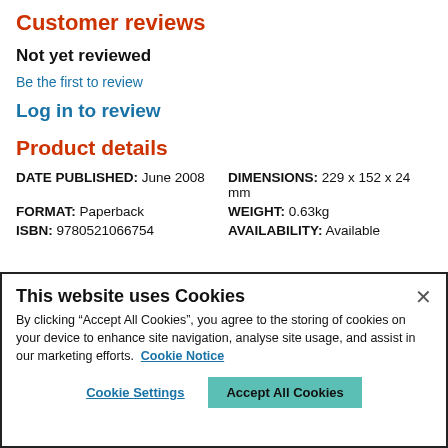Customer reviews
Not yet reviewed
Be the first to review
Log in to review
Product details
| DATE PUBLISHED: | June 2008 | DIMENSIONS: | 229 x 152 x 24 mm |
| FORMAT: | Paperback | WEIGHT: | 0.63kg |
| ISBN: | 9780521066754 | AVAILABILITY: | Available |
[Figure (screenshot): Cookie consent banner overlay with title 'This website uses Cookies', body text about cookies, Cookie Notice link, Cookie Settings button, and Accept All Cookies button.]